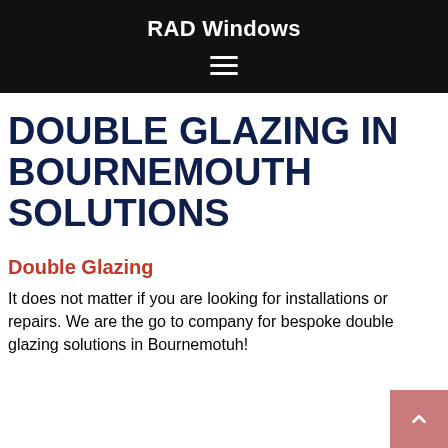RAD Windows
DOUBLE GLAZING IN BOURNEMOUTH SOLUTIONS
Double Glazing
It does not matter if you are looking for installations or repairs. We are the go to company for bespoke double glazing solutions in Bournemotuh!